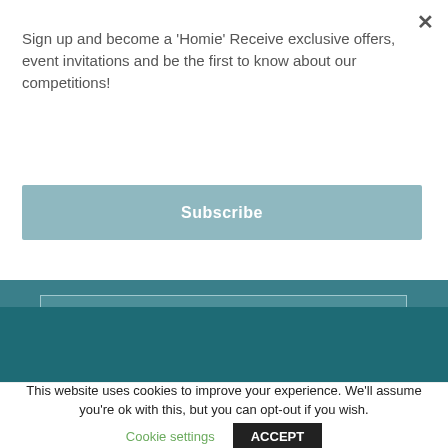Sign up and become a 'Homie' Receive exclusive offers, event invitations and be the first to know about our competitions!
Subscribe
[Figure (screenshot): Teal background section with an input field and Instagram icon on a darker teal band]
This website uses cookies to improve your experience. We'll assume you're ok with this, but you can opt-out if you wish.
Cookie settings
ACCEPT